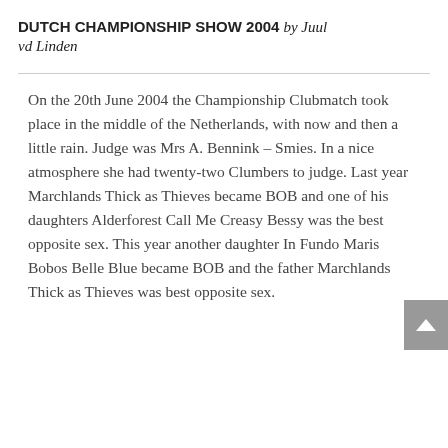DUTCH CHAMPIONSHIP SHOW 2004 by Juul vd Linden
On the 20th June 2004 the Championship Clubmatch took place in the middle of the Netherlands, with now and then a little rain. Judge was Mrs A. Bennink – Smies. In a nice atmosphere she had twenty-two Clumbers to judge. Last year Marchlands Thick as Thieves became BOB and one of his daughters Alderforest Call Me Creasy Bessy was the best opposite sex. This year another daughter In Fundo Maris Bobos Belle Blue became BOB and the father Marchlands Thick as Thieves was best opposite sex.